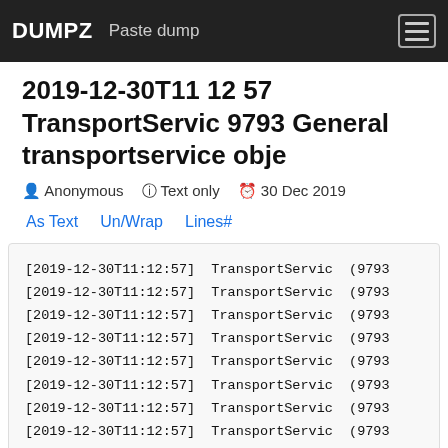DUMPZ  Paste dump
2019-12-30T11 12 57 TransportServic 9793 General transportservice obje
Anonymous  Text only  30 Dec 2019
As Text  Un/Wrap  Lines#
[2019-12-30T11:12:57] TransportServic (9793
[2019-12-30T11:12:57] TransportServic (9793
[2019-12-30T11:12:57] TransportServic (9793
[2019-12-30T11:12:57] TransportServic (9793
[2019-12-30T11:12:57] TransportServic (9793
[2019-12-30T11:12:57] TransportServic (9793
[2019-12-30T11:12:57] TransportServic (9793
[2019-12-30T11:12:57] TransportServic (9793
[2019-12-30T11:12:57] TransportServic (9793